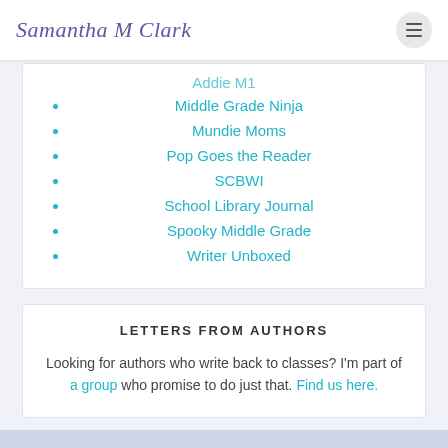Samantha M Clark
Middle Grade Ninja
Mundie Moms
Pop Goes the Reader
SCBWI
School Library Journal
Spooky Middle Grade
Writer Unboxed
LETTERS FROM AUTHORS
Looking for authors who write back to classes? I'm part of a group who promise to do just that. Find us here.